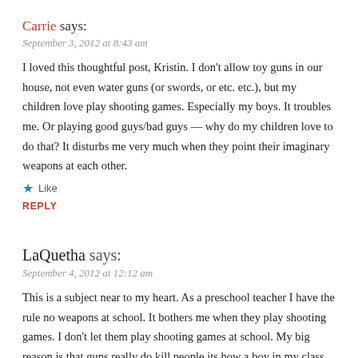Carrie says:
September 3, 2012 at 8:43 am
I loved this thoughtful post, Kristin. I don't allow toy guns in our house, not even water guns (or swords, or etc. etc.), but my children love play shooting games. Especially my boys. It troubles me. Or playing good guys/bad guys — why do my children love to do that? It disturbs me very much when they point their imaginary weapons at each other.
Like
REPLY
LaQuetha says:
September 4, 2012 at 12:12 am
This is a subject near to my heart. As a preschool teacher I have the rule no weapons at school. It bothers me when they play shooting games. I don't let them play shooting games at school. My big reason is that guns really do kill people its how a boy in my class died at age 13 by random drive by in his apartments. I worry so hard about keeping a balance in the classroom. As a teacher I need to respect